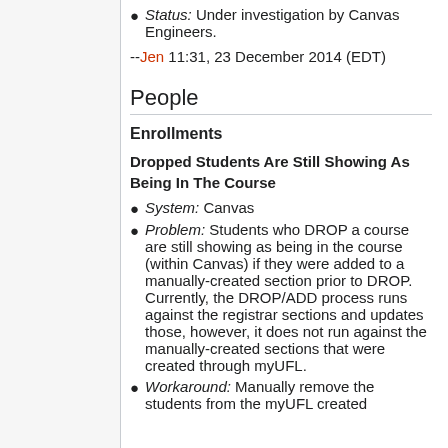Status: Under investigation by Canvas Engineers.
--Jen 11:31, 23 December 2014 (EDT)
People
Enrollments
Dropped Students Are Still Showing As Being In The Course
System: Canvas
Problem: Students who DROP a course are still showing as being in the course (within Canvas) if they were added to a manually-created section prior to DROP. Currently, the DROP/ADD process runs against the registrar sections and updates those, however, it does not run against the manually-created sections that were created through myUFL.
Workaround: Manually remove the students from the myUFL created